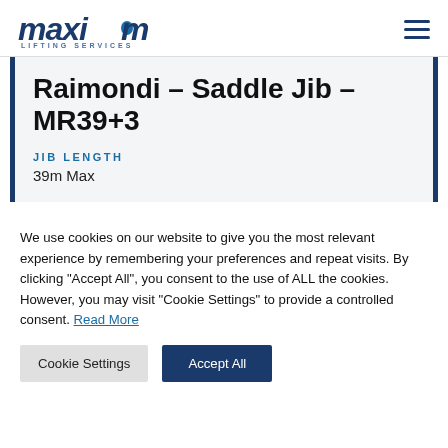Maxim Lifting Services
Raimondi – Saddle Jib – MR39+3
JIB LENGTH
39m Max
We use cookies on our website to give you the most relevant experience by remembering your preferences and repeat visits. By clicking "Accept All", you consent to the use of ALL the cookies. However, you may visit "Cookie Settings" to provide a controlled consent. Read More
Cookie Settings | Accept All